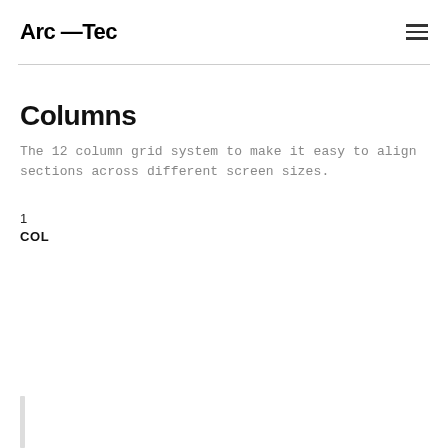Arc —Tec
Columns
The 12 column grid system to make it easy to align sections across different screen sizes.
1
COL